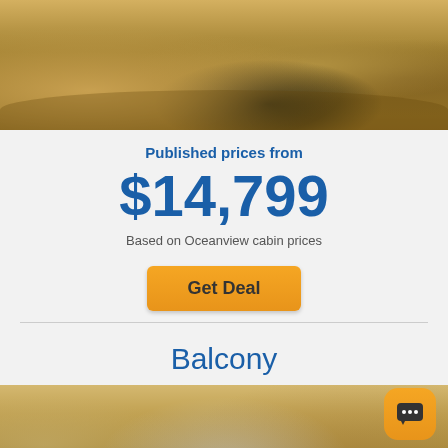[Figure (photo): Interior photo of a cruise ship cabin/lounge area showing furniture including chairs and a table, taken from above at an angle, warm beige and golden tones]
Published prices from
$14,799
Based on Oceanview cabin prices
Get Deal
Balcony
[Figure (photo): Interior photo of a cruise ship balcony cabin showing a living area with sofa, chairs, coffee table, and large windows/balcony doors with ocean view, warm beige tones with artwork on wall]